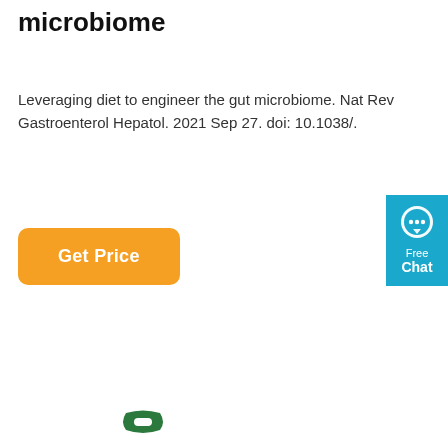microbiome
Leveraging diet to engineer the gut microbiome. Nat Rev Gastroenterol Hepatol. 2021 Sep 27. doi: 10.1038/.
[Figure (other): Orange 'Get Price' button]
[Figure (other): Blue chat widget with speech bubble icon, text 'Free Chat' on right side]
[Figure (other): Green phone icon]